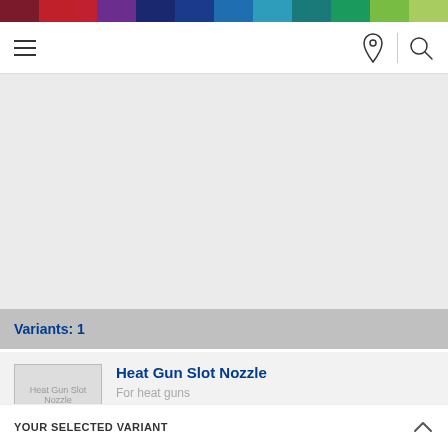[Figure (screenshot): Colorful horizontal stripe bar with segments in dark red, red, purple, dark navy, navy, blue, teal, dark teal, green, light green]
Navigation bar with hamburger menu, location pin icon, and search icon
Shoe
For heat guns
With Side Channel for Feeding Welding Wire
Variants: 1
Heat Gun Slot Nozzle
For heat guns
For Overlap Welding on PVC
YOUR SELECTED VARIANT